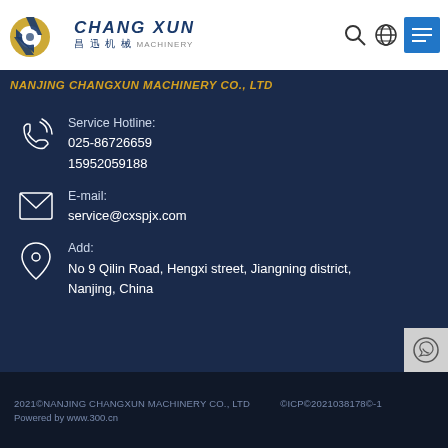[Figure (logo): Chang Xun Machinery logo with golden gear/circular element and blue text]
NANJING CHANGXUN MACHINERY CO., LTD
Service Hotline:
025-86726659
15952059188
E-mail:
service@cxspjx.com
Add:
No 9 Qilin Road, Hengxi street, Jiangning district, Nanjing, China
2021©NANJING CHANGXUN MACHINERY CO., LTD    ©ICP©2021038178©-1
Powered by www.300.cn